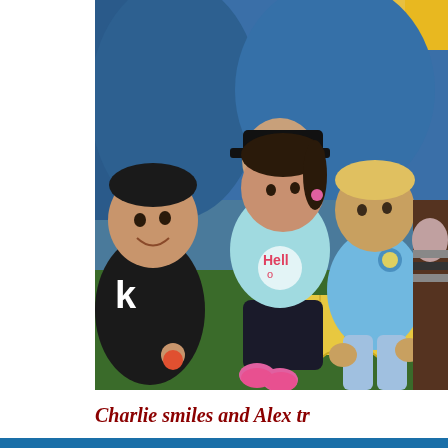[Figure (photo): Group of young children sitting on a green mat and yellow foam puzzle mat inside what appears to be an indoor play area. A boy in a black t-shirt sits on the left, a girl in a light blue 'Hello' kitty shirt with dark shorts and pink socks sits in the center, a boy in a blue t-shirt and black cap stands behind, a boy in a light blue uniform shirt sits on the right, and a partially visible child on the far right. Blue inflatable structure visible in background.]
Charlie smiles and Alex tr